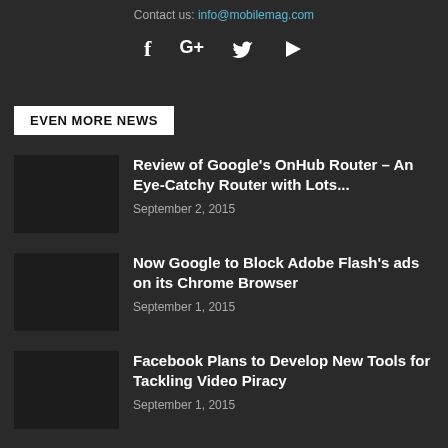Contact us: info@mobilemag.com
[Figure (other): Social media icons: Facebook, Google+, Twitter, YouTube]
EVEN MORE NEWS
Review of Google’s OnHub Router – An Eye-Catchy Router with Lots...
September 2, 2015
Now Google to Block Adobe Flash’s ads on its Chrome Browser
September 1, 2015
Facebook Plans to Develop New Tools for Tackling Video Piracy
September 1, 2015